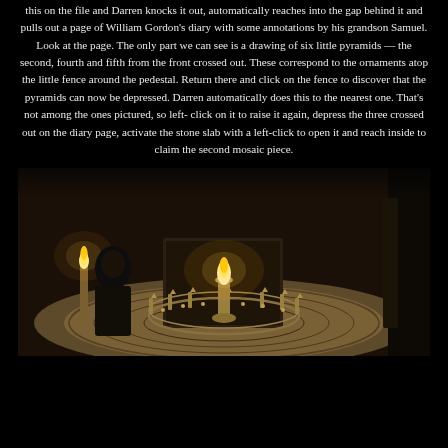this on the file and Darren knocks it out, automatically reaches into the gap behind it and pulls out a page of William Gordon's diary with some annotations by his grandson Samuel. Look at the page. The only part we can see is a drawing of six little pyramids — the second, fourth and fifth from the front crossed out. These correspond to the ornaments atop the little fence around the pedestal. Return there and click on the fence to discover that the pyramids can now be depressed. Darren automatically does this to the nearest one. That's not among the ones pictured, so left-click on it to raise it again, depress the three crossed out on the diary page, activate the stone slab with a left-click to open it and reach inside to claim the second mosaic piece.
[Figure (screenshot): In-game screenshot showing a character standing near a circular pedestal with ornate fence and candles in a dimly lit room with tiled floor.]